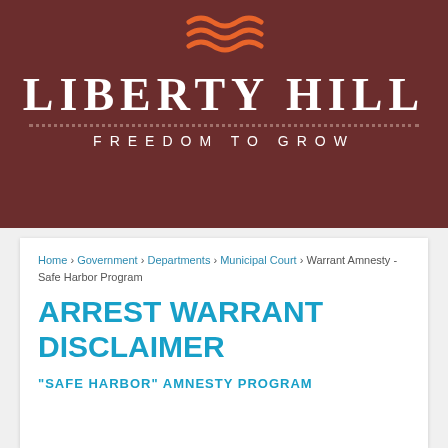[Figure (logo): Liberty Hill city logo with orange wave/flag graphic above the city name]
LIBERTY HILL
FREEDOM TO GROW
Home › Government › Departments › Municipal Court › Warrant Amnesty - Safe Harbor Program
ARREST WARRANT DISCLAIMER
"SAFE HARBOR" AMNESTY PROGRAM